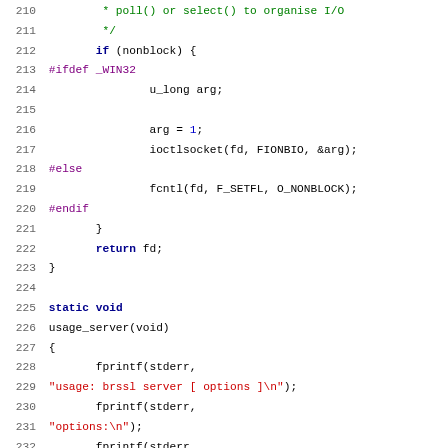[Figure (screenshot): Source code listing in C showing lines 210-242 of a network socket utility, with line numbers in gray, keywords in dark blue bold, preprocessor directives in purple, string literals in red, and numeric literals in blue.]